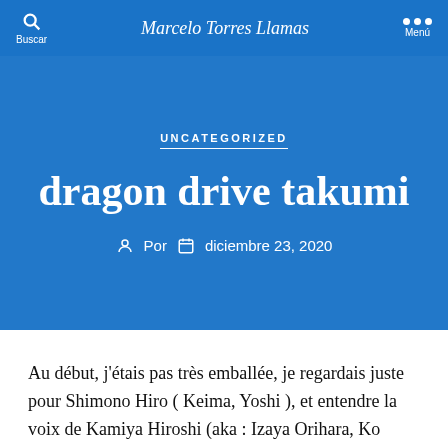Buscar | Marcelo Torres Llamas | Menú
UNCATEGORIZED
dragon drive takumi
Por  diciembre 23, 2020
Au début, j'étais pas très emballée, je regardais juste pour Shimono Hiro ( Keima, Yoshi ), et entendre la voix de Kamiya Hiroshi (aka : Izaya Orihara, Ko Ichinomiya, Itoshiki-sensei ) Blixer Hobbyist Traditional Artist. Akudama Drive (Japanese: アクダマドライブ, Hepburn: Akudama